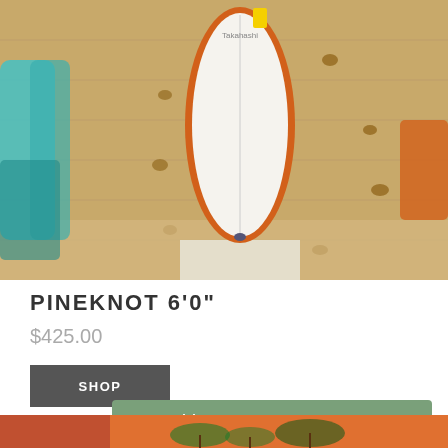[Figure (photo): A white surfboard with orange rails leaning against a plywood wall, with other colorful surfboards visible on the left side]
PINEKNOT 6'0"
$425.00
SHOP
Rentals & Lessons
[Figure (photo): Bottom portion of a surfboard graphic with colorful wave/palm design visible]